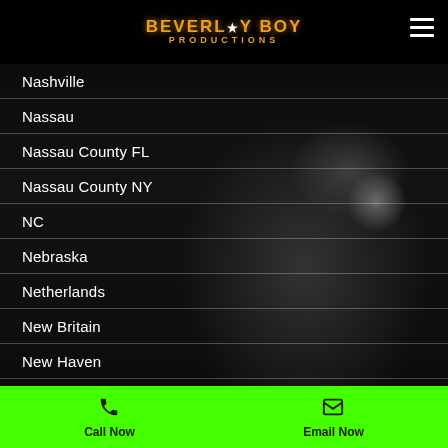Beverly Boy Productions
Nashville
Nassau
Nassau County FL
Nassau County NY
NC
Nebraska
Netherlands
New Britain
New Haven
New Jersey
Call Now | Email Now